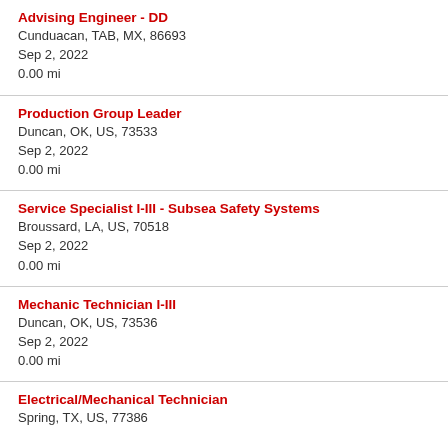Advising Engineer - DD
Cunduacan, TAB, MX, 86693
Sep 2, 2022
0.00 mi
Production Group Leader
Duncan, OK, US, 73533
Sep 2, 2022
0.00 mi
Service Specialist I-III - Subsea Safety Systems
Broussard, LA, US, 70518
Sep 2, 2022
0.00 mi
Mechanic Technician I-III
Duncan, OK, US, 73536
Sep 2, 2022
0.00 mi
Electrical/Mechanical Technician
Spring, TX, US, 77386